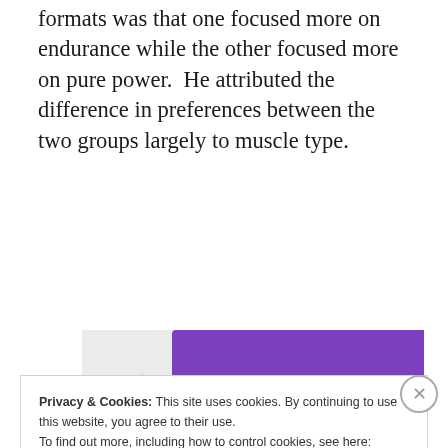formats was that one focused more on endurance while the other focused more on pure power.  He attributed the difference in preferences between the two groups largely to muscle type.
[Figure (illustration): Advertisement image with colorful abstract shapes (purple, teal, light blue) on a light gray background. Bold text reads 'How to start selling subscriptions online' with a purple button below.]
Privacy & Cookies: This site uses cookies. By continuing to use this website, you agree to their use.
To find out more, including how to control cookies, see here: Cookie Policy
Close and accept